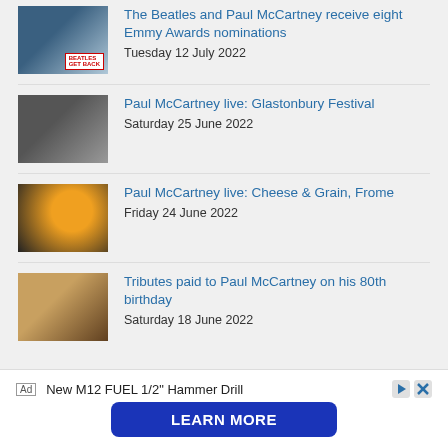The Beatles and Paul McCartney receive eight Emmy Awards nominations — Tuesday 12 July 2022
Paul McCartney live: Glastonbury Festival — Saturday 25 June 2022
Paul McCartney live: Cheese & Grain, Frome — Friday 24 June 2022
Tributes paid to Paul McCartney on his 80th birthday — Saturday 18 June 2022
Ad  New M12 FUEL 1/2" Hammer Drill  LEARN MORE